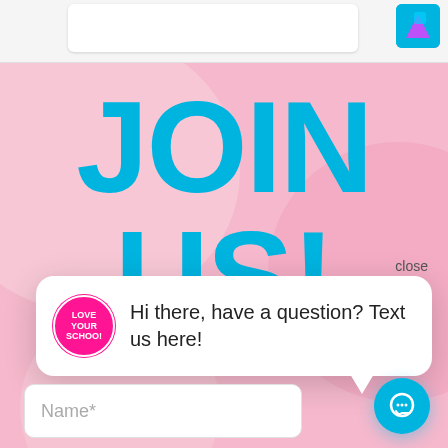[Figure (screenshot): Screenshot of a website with a pink background showing 'JOIN US' in large blue text, a chat popup from 'Love Your School' saying 'Hi there, have a question? Text us here!', a close button, a Name input field, and a blue chat button.]
JOIN US
close
[Figure (logo): Love Your School circular logo with pink background and white text]
Hi there, have a question? Text us here!
Name*